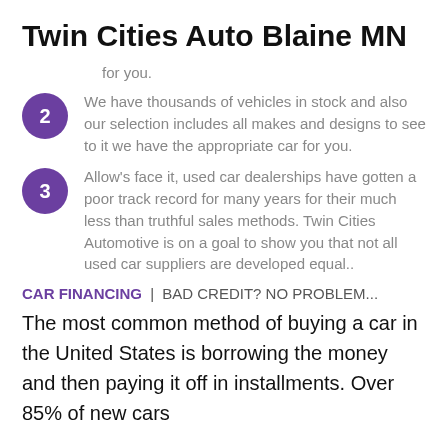Twin Cities Auto Blaine MN
for you.
We have thousands of vehicles in stock and also our selection includes all makes and designs to see to it we have the appropriate car for you.
Allow's face it, used car dealerships have gotten a poor track record for many years for their much less than truthful sales methods. Twin Cities Automotive is on a goal to show you that not all used car suppliers are developed equal..
CAR FINANCING | BAD CREDIT? NO PROBLEM...
The most common method of buying a car in the United States is borrowing the money and then paying it off in installments. Over 85% of new cars